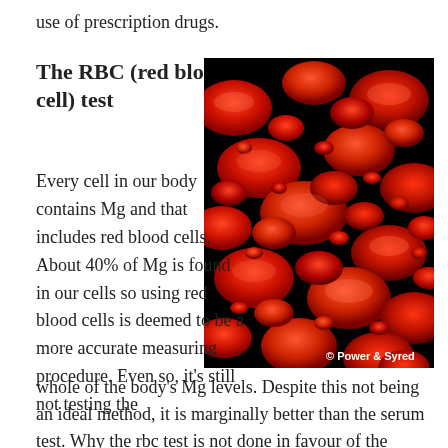use of prescription drugs.
The RBC (red blood cell) test
[Figure (photo): Microscopic image of red blood cells (erythrocytes) on a black background, showing numerous biconcave disc-shaped cells in red. Attribution: © Power & Syred]
Every cell in our body contains Mg and that includes red blood cells. About 40% of Mg is found in our cells so using red blood cells is deemed to be a more accurate measuring procedure. Even so, it's still not testing the whole of the body's Mg levels. Despite this not being an ideal method, it is marginally better than the serum test. Why the rbc test is not done in favour of the serum test, is